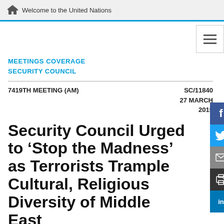Welcome to the United Nations
MEETINGS COVERAGE
SECURITY COUNCIL
7419TH MEETING (AM)   SC/11840
27 MARCH
2015
Security Council Urged to ‘Stop the Madness’ as Terrorists Trample Cultural, Religious Diversity of Middle East